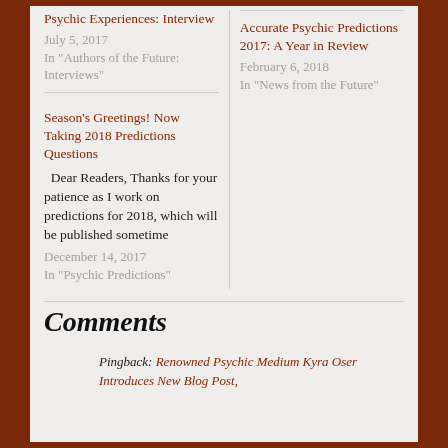Psychic Experiences: Interview
July 5, 2017
In "Authors of the Future: Interviews"
Accurate Psychic Predictions 2017: A Year in Review
February 6, 2018
In "News from the Future"
Season's Greetings! Now Taking 2018 Predictions Questions
Dear Readers, Thanks for your patience as I work on predictions for 2018, which will be published sometime
December 14, 2017
In "Psychic Predictions"
Comments
Pingback: Renowned Psychic Medium Kyra Oser Introduces New Blog Post,